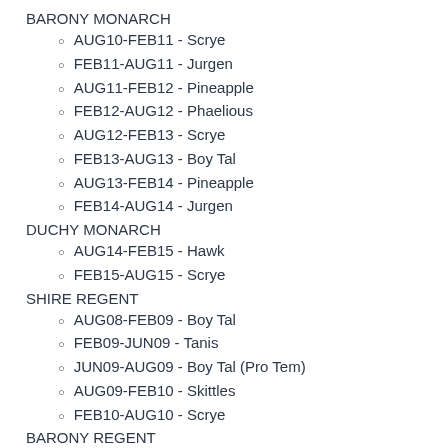BARONY MONARCH
AUG10-FEB11 - Scrye
FEB11-AUG11 - Jurgen
AUG11-FEB12 - Pineapple
FEB12-AUG12 - Phaelious
AUG12-FEB13 - Scrye
FEB13-AUG13 - Boy Tal
AUG13-FEB14 - Pineapple
FEB14-AUG14 - Jurgen
DUCHY MONARCH
AUG14-FEB15 - Hawk
FEB15-AUG15 - Scrye
SHIRE REGENT
AUG08-FEB09 - Boy Tal
FEB09-JUN09 - Tanis
JUN09-AUG09 - Boy Tal (Pro Tem)
AUG09-FEB10 - Skittles
FEB10-AUG10 - Scrye
BARONY REGENT
AUG10-FEB11 - Druce
FEB11-AUG11 - Boy Tal